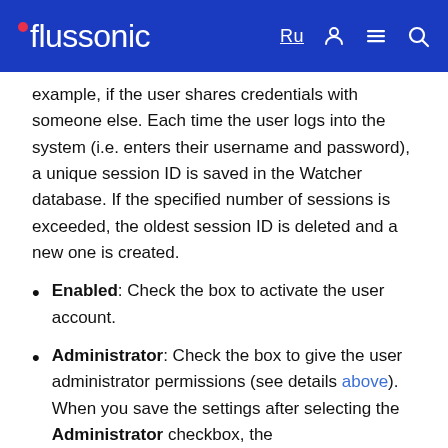flussonic
example, if the user shares credentials with someone else. Each time the user logs into the system (i.e. enters their username and password), a unique session ID is saved in the Watcher database. If the specified number of sessions is exceeded, the oldest session ID is deleted and a new one is created.
Enabled: Check the box to activate the user account.
Administrator: Check the box to give the user administrator permissions (see details above). When you save the settings after selecting the Administrator checkbox, the